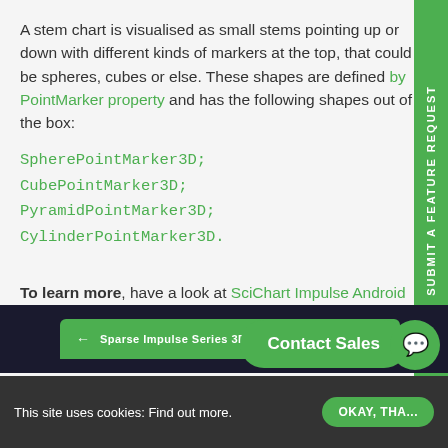A stem chart is visualised as small stems pointing up or down with different kinds of markers at the top, that could be spheres, cubes or else. These shapes are defined by PointMarker property and has the following shapes out of the box:
SpherePointMarker3D;
CubePointMarker3D;
PyramidPointMarker3D;
CylinderPointMarker3D.
To learn more, have a look at SciChart Impulse Android 3D Chart Type Documentation
[Figure (screenshot): Mobile phone screenshot bar showing 'Sparse Impulse Series 3D' app header in green]
This site uses cookies: Find out more.